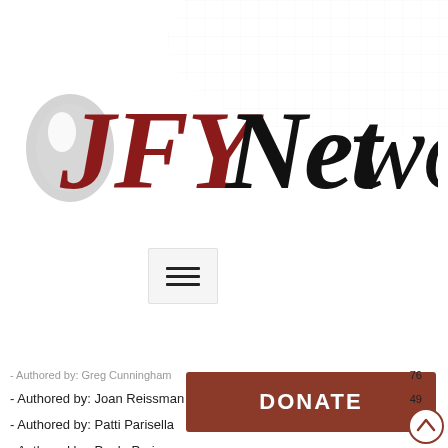[Figure (logo): JFY Networks logo with stylized 'u' icon, 'JFY' in dark red/crimson and 'Networks' in black]
[Figure (other): Hamburger menu button (three horizontal lines) on light gray background]
[Figure (other): Dark red DONATE button]
- Authored by: Greg Cunningham   76
- Authored by: Joan Reissman   49
- Authored by: Patti Parisella   1
- Authored by: Paula Paris